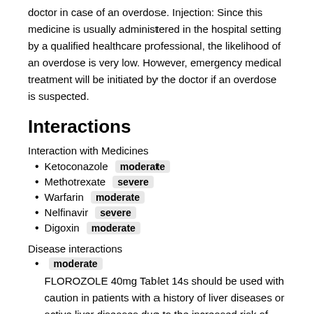doctor in case of an overdose. Injection: Since this medicine is usually administered in the hospital setting by a qualified healthcare professional, the likelihood of an overdose is very low. However, emergency medical treatment will be initiated by the doctor if an overdose is suspected.
Interactions
Interaction with Medicines
Ketoconazole  moderate
Methotrexate  severe
Warfarin  moderate
Nelfinavir  severe
Digoxin  moderate
Disease interactions
moderate
FLOROZOLE 40mg Tablet 14s should be used with caution in patients with a history of liver diseases or active liver diseases due to the increased risk of severe adverse effects. Close monitoring of liver function, appropriate dose adjustments, or replacement with a